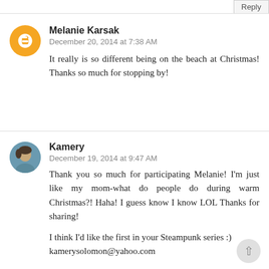Reply
Melanie Karsak
December 20, 2014 at 7:38 AM
It really is so different being on the beach at Christmas! Thanks so much for stopping by!
Kamery
December 19, 2014 at 9:47 AM
Thank you so much for participating Melanie! I'm just like my mom-what do people do during warm Christmas?! Haha! I guess know I know LOL Thanks for sharing!
I think I'd like the first in your Steampunk series :) kamerysolomon@yahoo.com